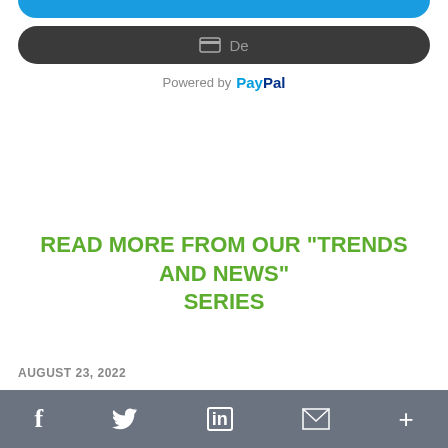[Figure (screenshot): Partial blue rounded button at top]
[Figure (screenshot): Dark rounded button with card icon and 'De' text]
Powered by PayPal
READ MORE FROM OUR "TRENDS AND NEWS" SERIES
AUGUST 23, 2022
[Figure (screenshot): Social sharing bar with Facebook, Twitter, LinkedIn, Gmail, and more icons]